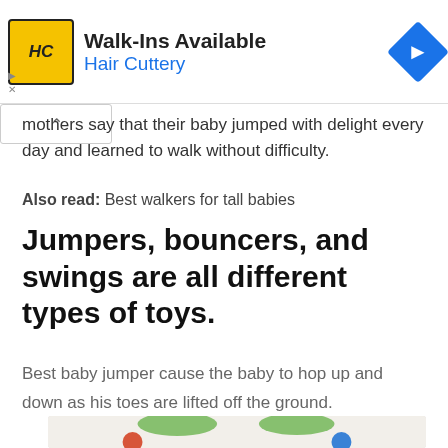[Figure (other): Hair Cuttery advertisement banner with HC logo, Walk-ins Available text, and navigation arrow icon]
mothers say that their baby jumped with delight every day and learned to walk without difficulty.
Also read: Best walkers for tall babies
Jumpers, bouncers, and swings are all different types of toys.
Best baby jumper cause the baby to hop up and down as his toes are lifted off the ground.
[Figure (photo): Baby toys with colorful plush animals hanging over a baby swing or bouncer, featuring a red bird, blue creature with green leaf canopy]